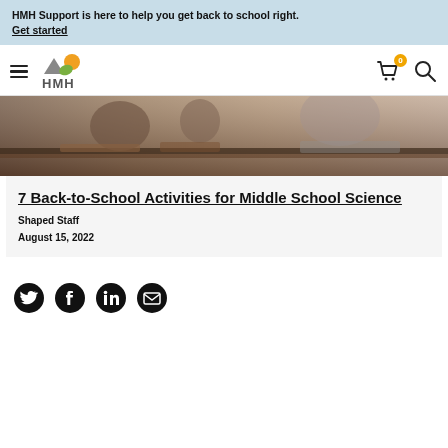HMH Support is here to help you get back to school right. Get started
[Figure (logo): HMH logo with navigation bar including hamburger menu, cart with 0 items badge, and search icon]
[Figure (photo): Students working at a desk in a classroom setting, back-to-school science theme]
7 Back-to-School Activities for Middle School Science
Shaped Staff
August 15, 2022
[Figure (infographic): Social sharing icons: Twitter, Facebook, LinkedIn, Email]